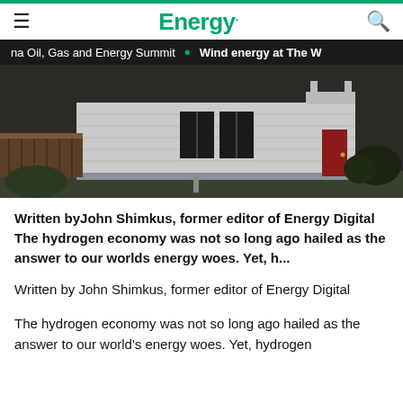Energy.
na Oil, Gas and Energy Summit • Wind energy at The W
[Figure (photo): Exterior photo of a white single-story house with dark windows, wooden deck on the left, red door on the right, and shrubs near the foundation.]
Written byJohn Shimkus, former editor of Energy Digital The hydrogen economy was not so long ago hailed as the answer to our worlds energy woes. Yet, h...
Written by John Shimkus, former editor of Energy Digital
The hydrogen economy was not so long ago hailed as the answer to our world's energy woes. Yet, hydrogen